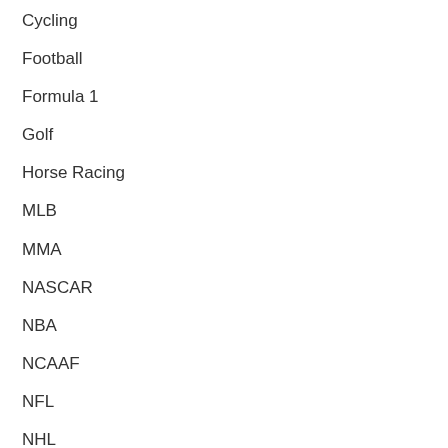Cycling
Football
Formula 1
Golf
Horse Racing
MLB
MMA
NASCAR
NBA
NCAAF
NFL
NHL
Rugby